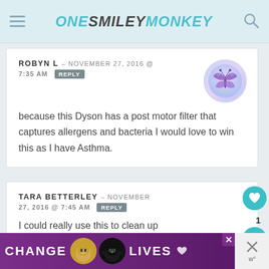ONE SMILEY MONKEY
ROBYN L – NOVEMBER 27, 2016 @ 7:35 AM  REPLY
because this Dyson has a post motor filter that captures allergens and bacteria I would love to win this as I have Asthma.
TARA BETTERLEY – NOVEMBER 27, 2016 @ 7:45 AM  REPLY
I could really use this to clean up
[Figure (other): Advertisement banner: CHANGE LIVES with cat photos on purple background]